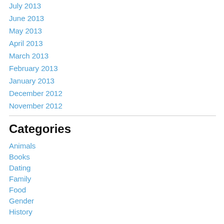July 2013
June 2013
May 2013
April 2013
March 2013
February 2013
January 2013
December 2012
November 2012
Categories
Animals
Books
Dating
Family
Food
Gender
History